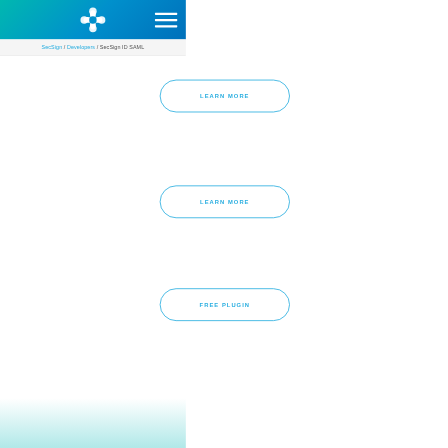SecSign logo and navigation header
SecSign / Developers / SecSign ID SAML
LEARN MORE
LEARN MORE
FREE PLUGIN